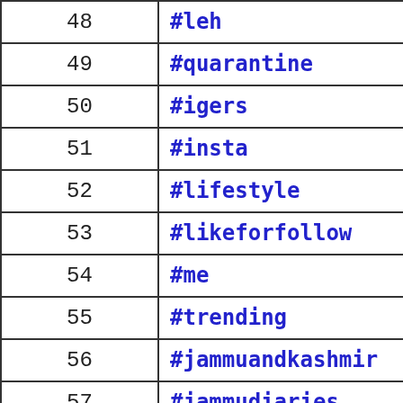| Rank | Hashtag | Count |
| --- | --- | --- |
| 48 | #leh | 45 |
| 49 | #quarantine | 45 |
| 50 | #igers | 43 |
| 51 | #insta | 43 |
| 52 | #lifestyle | 43 |
| 53 | #likeforfollow | 43 |
| 54 | #me | 43 |
| 55 | #trending | 43 |
| 56 | #jammuandkashmir | 38 |
| 57 | #jammudiaries | 38 |
| 58 | #throwback | 38 |
| 59 | ... | ... |